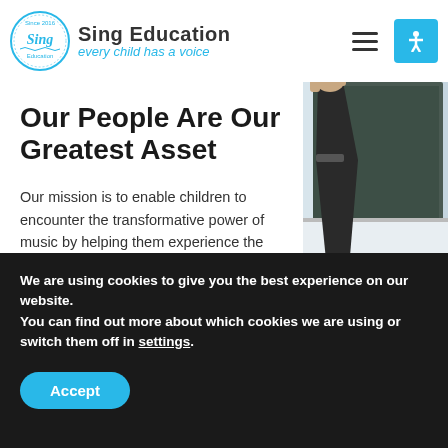Sing Education — every child has a voice
[Figure (photo): A student raising their hand enthusiastically in a classroom, with a chalkboard visible in the background. Additional hands are raised in the lower right.]
Our People Are Our Greatest Asset
Our mission is to enable children to encounter the transformative power of music by helping them experience the joy of singing and making
We are using cookies to give you the best experience on our website.
You can find out more about which cookies we are using or switch them off in settings.
Accept